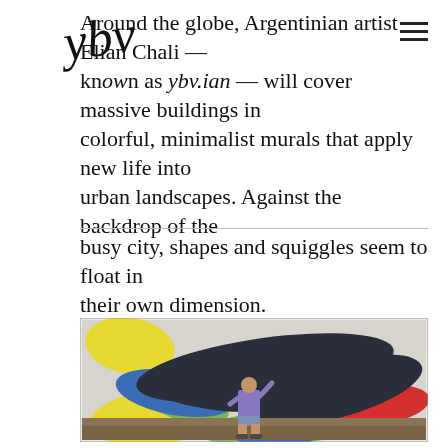Around the globe, Argentinian artist Elian Chali — known as ybv.ian — will cover massive buildings in colorful, minimalist murals that apply new life into urban landscapes. Against the backdrop of the busy city, shapes and squiggles seem to float in their own dimension.
[Figure (photo): A man in a colorful jacket stands in front of a large outdoor wall mural featuring bold, overlapping colorful shapes — dark navy, red, yellow, blue, green — painted in a minimalist style on a white wall. The ground in front is bare dirt.]